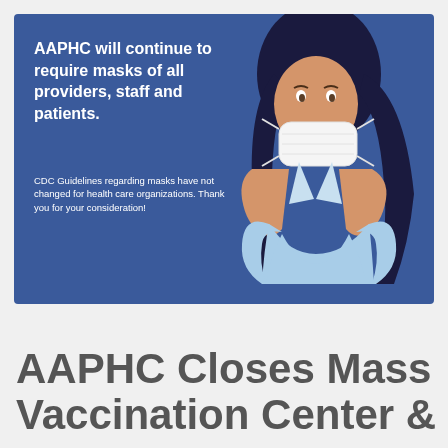[Figure (illustration): Blue background infographic showing a woman holding a white face mask up to her face. Text on left reads: 'AAPHC will continue to require masks of all providers, staff and patients.' and 'CDC Guidelines regarding masks have not changed for health care organizations. Thank you for your consideration!']
AAPHC Closes Mass Vaccination Center &